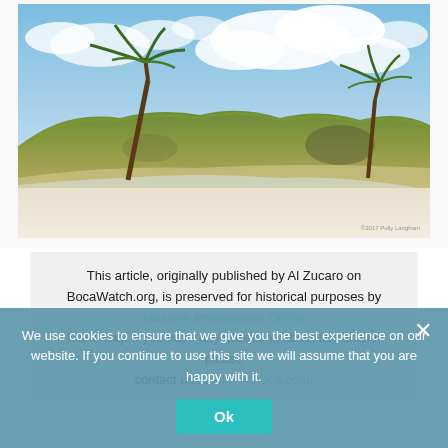[Figure (photo): Coastal beach scene with white sand dunes, green vegetation, palm trees bending in the wind, and a partly cloudy blue sky. Small watermark/credit text visible in bottom right corner.]
This article, originally published by Al Zucaro on BocaWatch.org, is preserved for historical purposes by Massive Impressions Online Marketing. If you have any questions about this article, please contact us at info@4boca.com.
We use cookies to ensure that we give you the best experience on our website. If you continue to use this site we will assume that you are happy with it.